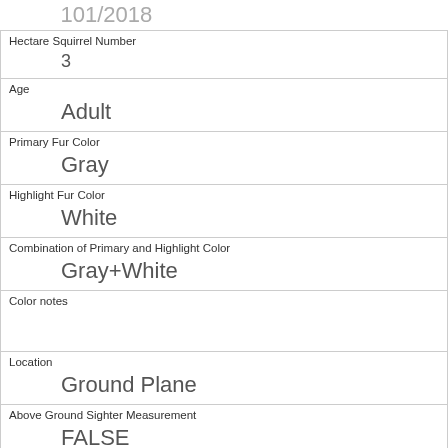| 101/2018 |
| Hectare Squirrel Number | 3 |
| Age | Adult |
| Primary Fur Color | Gray |
| Highlight Fur Color | White |
| Combination of Primary and Highlight Color | Gray+White |
| Color notes |  |
| Location | Ground Plane |
| Above Ground Sighter Measurement | FALSE |
| Specific Location |  |
| Running | 0 |